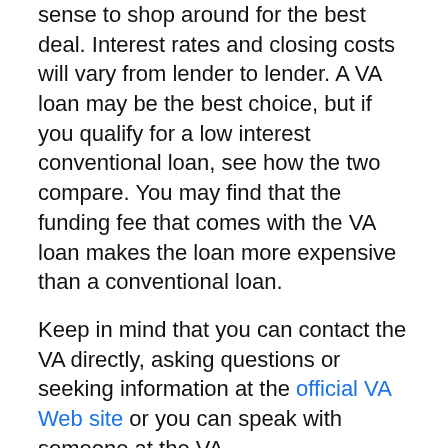sense to shop around for the best deal. Interest rates and closing costs will vary from lender to lender. A VA loan may be the best choice, but if you qualify for a low interest conventional loan, see how the two compare. You may find that the funding fee that comes with the VA loan makes the loan more expensive than a conventional loan.
Keep in mind that you can contact the VA directly, asking questions or seeking information at the official VA Web site or you can speak with someone at the VA.
I hope this information helps you Find. Learn & Save.